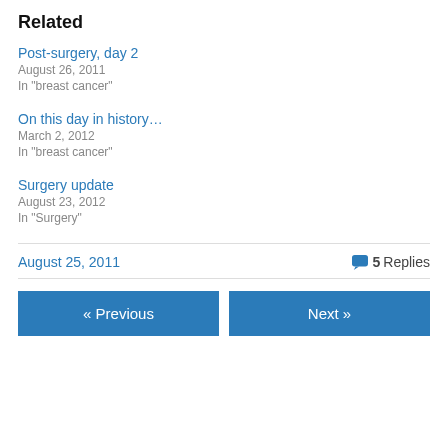Related
Post-surgery, day 2
August 26, 2011
In "breast cancer"
On this day in history…
March 2, 2012
In "breast cancer"
Surgery update
August 23, 2012
In "Surgery"
August 25, 2011   5 Replies
« Previous   Next »